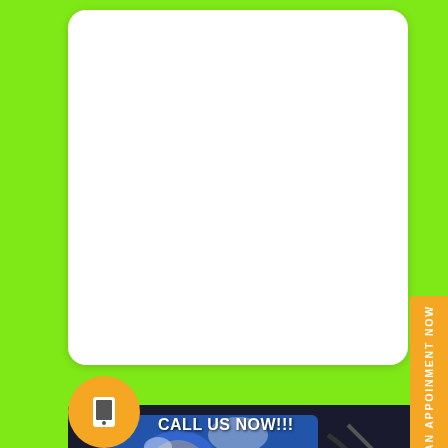[Figure (photo): White rounded card placeholder area at top of page on green background]
[Figure (photo): Photo of a car engine bay showing a blue engine with polished aluminum components, carbon fiber details, and battery. Overlay text reads CALL US NOW!!! with an orange phone icon circle.]
CALL US NOW!!!
SET AN APPOINMENT NOW